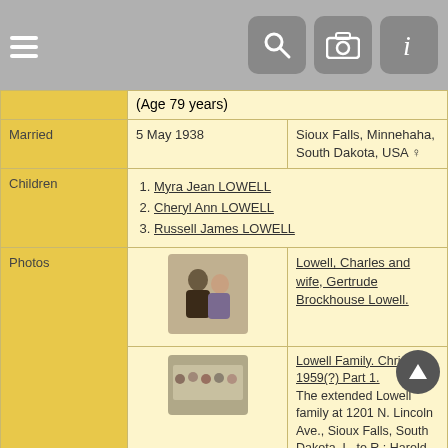Navigation bar with hamburger menu, search, camera, and info icons
| Field | Date/Detail | Location/Info |
| --- | --- | --- |
|  | (Age 79 years) |  |
| Married | 5 May 1938 | Sioux Falls, Minnehaha, South Dakota, USA |
| Children | 1. Myra Jean LOWELL
2. Cheryl Ann LOWELL
3. Russell James LOWELL |  |
| Photos | [photo: couple] | Lowell, Charles and wife, Gertrude Brockhouse Lowell. |
| Photos | [photo: family group] | Lowell Family. Christmas 1959(?) Part 1.
The extended Lowell family at 1201 N. Lincoln Ave., Sioux Falls, South Dakota. L. to R.: Harold D. Nelson, Gudrun Nelson, Myra Lowell, Gert Lowell, Charles Lowell, George Lowell, John Lowell, Flora Luker. |
| Headstones | [headstone photo] | Lowell, Charles and Gertrude Brockhouse Lowell |
| Last Modified | 31 Jul 2022 |  |
| Family ID | F87 | Group Sheet | Family Chart |